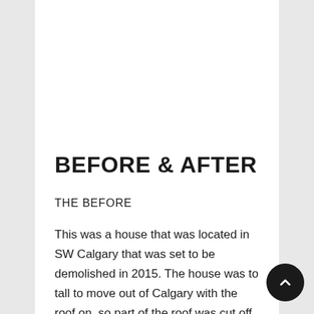BEFORE & AFTER
THE BEFORE
This was a house that was located in SW Calgary that was set to be demolished in 2015. The house was to tall to move out of Calgary with the roof on, so part of the roof was cut off. The house was prepped and ready to be moved to it's new location in the